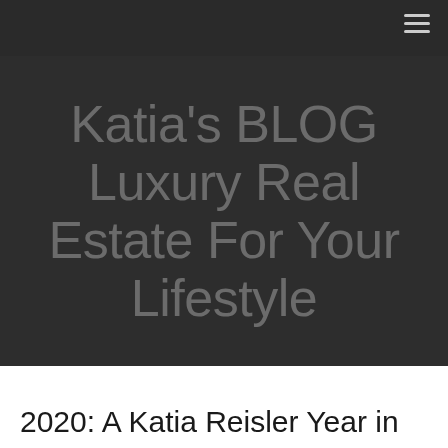Katia's BLOG Luxury Real Estate For Your Lifestyle
2020: A Katia Reisler Year in